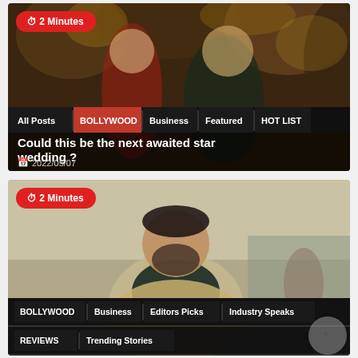[Figure (photo): Card 1: Two Bollywood celebrities posing together against a decorative foliage background. Time badge reads '2 Minutes'. Tags: All Posts, BOLLYWOOD, Business, Featured, HOT LIST. Title: Could this be the next awaited star wedding? Date: 2022/05/07]
[Figure (photo): Card 2: Male Bollywood actor with beard wearing a trench coat outdoors. Time badge reads '2 Minutes'. Tags: BOLLYWOOD, Business, Editors Picks, Industry Speaks, REVIEWS, Trending Stories]